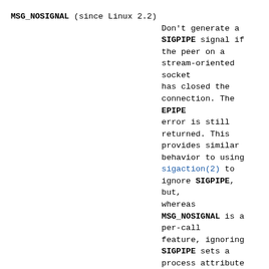MSG_NOSIGNAL (since Linux 2.2) Don't generate a SIGPIPE signal if the peer on a stream-oriented socket has closed the connection. The EPIPE error is still returned. This provides similar behavior to using sigaction(2) to ignore SIGPIPE, but, whereas MSG_NOSIGNAL is a per-call feature, ignoring SIGPIPE sets a process attribute that affects all threads in the process.
MSG_OOB Sends out-of-band data on sockets that support this notion (e.g., of type SOCK_STREAM); the underlying protocol must also support out-of-band data.
sendmsg()
The definition of the msghdr structure employed by sendmsg() is as follows: